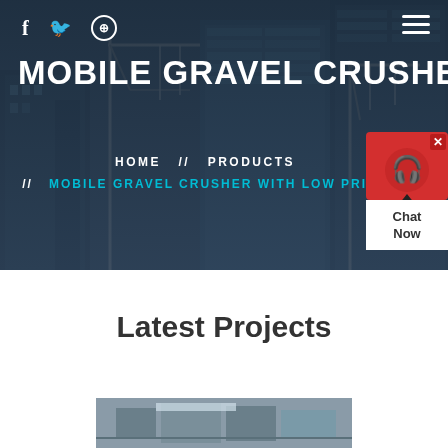f  ✈  ⊕  ≡
MOBILE GRAVEL CRUSHER WITH
HOME  //  PRODUCTS  //  MOBILE GRAVEL CRUSHER WITH LOW PRICE
[Figure (screenshot): Chat Now widget with red background and headset icon, with X close button]
Latest Projects
[Figure (photo): Industrial machinery/crusher equipment photo at the bottom of the page]